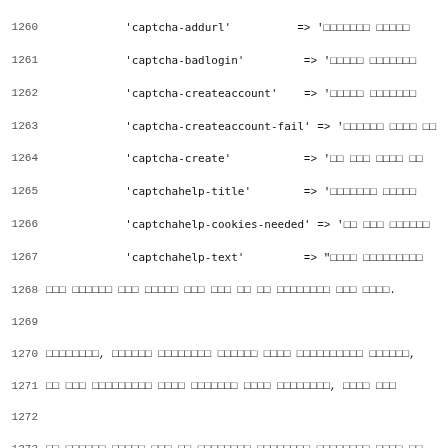Source code listing lines 1260-1291 showing PHP array assignments for captcha messages in various languages